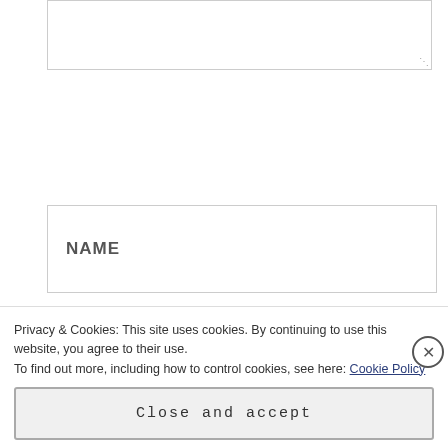[Figure (screenshot): Textarea input field with resize handle at bottom right]
NAME
EMAIL
Privacy & Cookies: This site uses cookies. By continuing to use this website, you agree to their use.
To find out more, including how to control cookies, see here: Cookie Policy
Close and accept